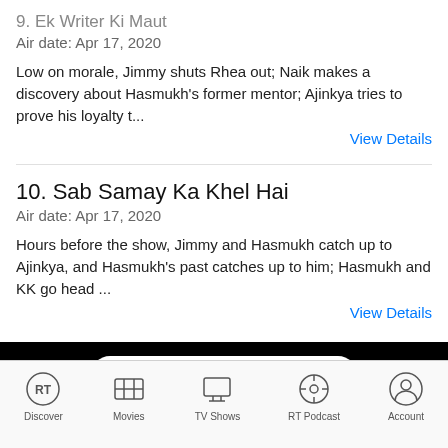9. Ek Writer Ki Maut
Air date: Apr 17, 2020
Low on morale, Jimmy shuts Rhea out; Naik makes a discovery about Hasmukh's former mentor; Ajinkya tries to prove his loyalty t...
View Details
10. Sab Samay Ka Khel Hai
Air date: Apr 17, 2020
Hours before the show, Jimmy and Hasmukh catch up to Ajinkya, and Hasmukh's past catches up to him; Hasmukh and KK go head ...
View Details
More Top TV Picks Netflix
ONLY IN MOVIE THEATERS FRIDAY
Discover  Movies  TV Shows  RT Podcast  Account